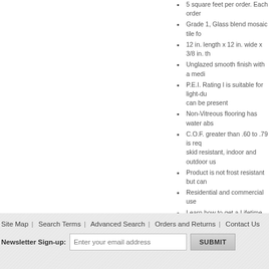5 square feet per order. Each order
Grade 1, Glass blend mosaic tile fo
12 in. length x 12 in. wide x 3/8 in. th
Unglazed smooth finish with a medi
P.E.I. Rating I is suitable for light-du can be present
Non-Vitreous flooring has water abs
C.O.F. greater than .60 to .79 is req skid resistant, indoor and outdoor us
Product is not frost resistant but can
Residential and commercial use
Learn how to get a Lifetime Warrant
Don't forget your coordinating trim p
All online orders for this item ship vi
It is recommended you purchase a m
Site Map | Search Terms | Advanced Search | Orders and Returns | Contact Us   Newsletter Sign-up: [Enter your email address] SUBMIT